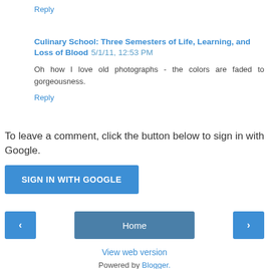Reply
Culinary School: Three Semesters of Life, Learning, and Loss of Blood  5/1/11, 12:53 PM
Oh how I love old photographs - the colors are faded to gorgeousness.
Reply
To leave a comment, click the button below to sign in with Google.
[Figure (other): SIGN IN WITH GOOGLE button]
[Figure (other): Navigation bar with left arrow, Home button, and right arrow]
View web version
Powered by Blogger.